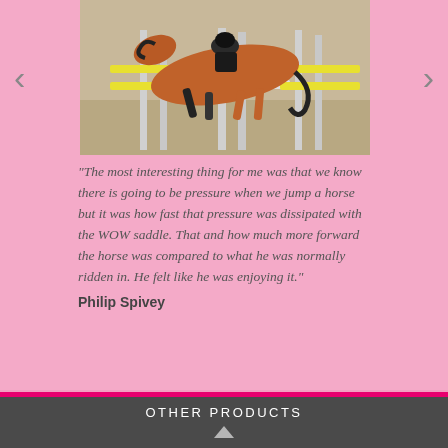[Figure (photo): A horse jumping over a fence/obstacle, photographed from the side. The horse is chestnut/brown colored, mid-jump over white and colored poles. A rider is visible on top.]
"The most interesting thing for me was that we know there is going to be pressure when we jump a horse but it was how fast that pressure was dissipated with the WOW saddle. That and how much more forward the horse was compared to what he was normally ridden in. He felt like he was enjoying it." Philip Spivey
OTHER PRODUCTS